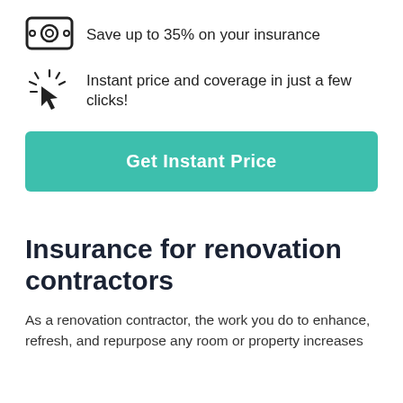[Figure (illustration): Money/cash bill icon (square with circular center)]
Save up to 35% on your insurance
[Figure (illustration): Click/cursor icon with sparkle rays]
Instant price and coverage in just a few clicks!
Get Instant Price
Insurance for renovation contractors
As a renovation contractor, the work you do to enhance, refresh, and repurpose any room or property increases